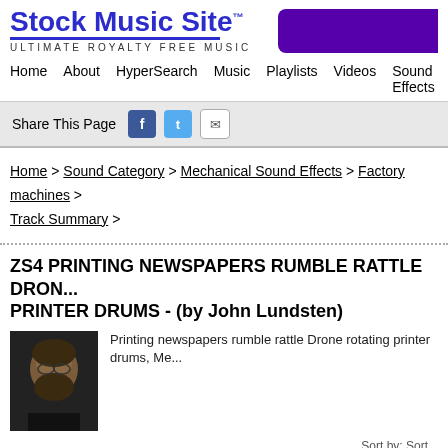[Figure (logo): Stock Music Site logo with text 'Stock Music Site' in blue bold and 'ULTIMATE ROYALTY FREE MUSIC' subtitle, with purple bar on right]
Home   About   HyperSearch   Music   Playlists   Videos   Sound Effects   Arti...
Share This Page [Facebook] [Twitter] [Email]
Home > Sound Category > Mechanical Sound Effects > Factory machines > Track Summary >
ZS4 PRINTING NEWSPAPERS RUMBLE RATTLE DRONE PRINTER DRUMS - (by John Lundsten)
Printing newspapers rumble rattle Drone rotating printer drums, Me...
| Type | Play | Track Info | Catalog ID | Mi... |
| --- | --- | --- | --- | --- |